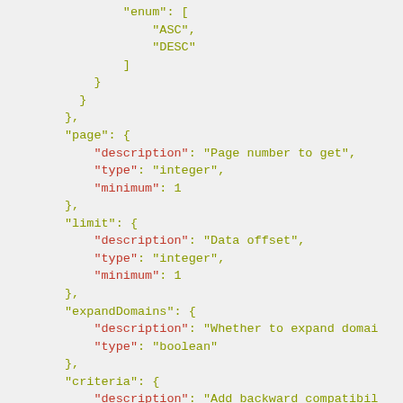JSON schema code snippet showing enum, page, limit, expandDomains, and criteria properties